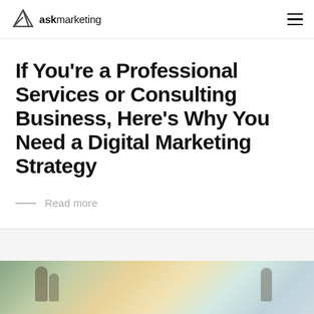askmarketing
If You're a Professional Services or Consulting Business, Here's Why You Need a Digital Marketing Strategy
Read more
[Figure (photo): Partial view of people in an office or meeting room setting, brightly lit]